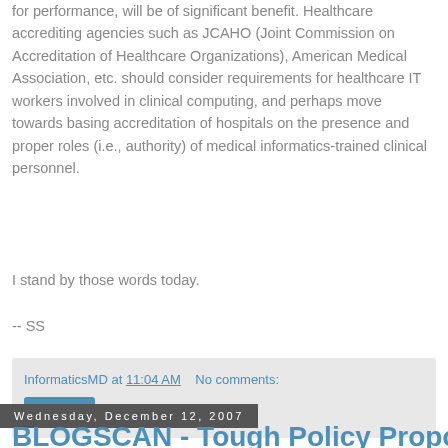for performance, will be of significant benefit. Healthcare accrediting agencies such as JCAHO (Joint Commission on Accreditation of Healthcare Organizations), American Medical Association, etc. should consider requirements for healthcare IT workers involved in clinical computing, and perhaps move towards basing accreditation of hospitals on the presence and proper roles (i.e., authority) of medical informatics-trained clinical personnel.
I stand by those words today.
-- SS
InformaticsMD at 11:04 AM    No comments:
Share
Wednesday, December 12, 2007
BLOGSCAN - Tough Policy Proposals